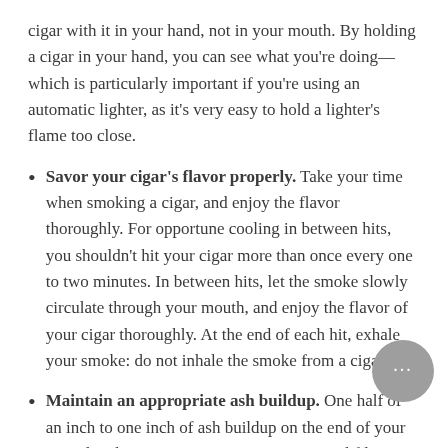cigar with it in your hand, not in your mouth. By holding a cigar in your hand, you can see what you're doing—which is particularly important if you're using an automatic lighter, as it's very easy to hold a lighter's flame too close.
Savor your cigar's flavor properly. Take your time when smoking a cigar, and enjoy the flavor thoroughly. For opportune cooling in between hits, you shouldn't hit your cigar more than once every one to two minutes. In between hits, let the smoke slowly circulate through your mouth, and enjoy the flavor of your cigar thoroughly. At the end of each hit, exhale your smoke: do not inhale the smoke from a cigar.
Maintain an appropriate ash buildup. One half of an inch to one inch of ash buildup on the end of your considered appropriate, as it acts as a natural filter considered to affect the flavor optimally. Official cigar